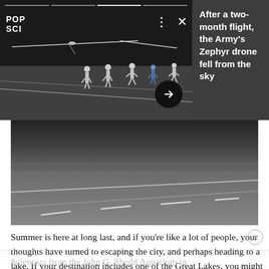[Figure (screenshot): Pop Sci story notification overlay showing night scene with people on a runway/tarmac and a solar drone with wings visible, with progress bars at top, POP SCI logo, menu dots, X close button, and right arrow button. Panel on right says 'After a two-month flight, the Army's Zephyr drone fell from the sky']
[Figure (photo): Night photograph of a runway/tarmac with white lane markings, several human silhouettes, taken at low angle. Background is dark.]
Summer is here at long last, and if you're like a lot of people, your thoughts have turned to escaping the city, and perhaps heading to a lake. If your destination includes one of the Great Lakes, you might consider doing a bit of citizen science on the side.
Scientists from the John G. Shedd Aquarium in